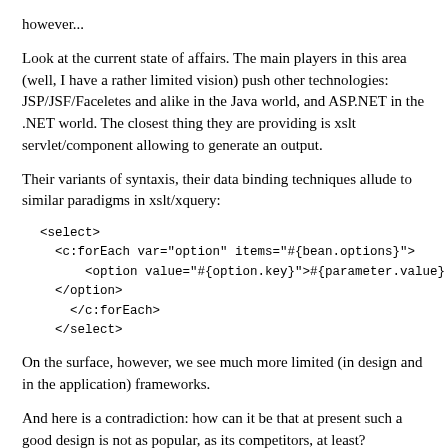however...
Look at the current state of affairs. The main players in this area (well, I have a rather limited vision) push other technologies: JSP/JSF/Faceletes and alike in the Java world, and ASP.NET in the .NET world. The closest thing they are providing is xslt servlet/component allowing to generate an output.
Their variants of syntaxis, their data binding techniques allude to similar paradigms in xslt/xquery:
<select>
  <c:forEach var="option" items="#{bean.options}">
      <option value="#{option.key}">#{parameter.value}
  </option>
    </c:forEach>
  </select>
On the surface, however, we see much more limited (in design and in the application) frameworks.
And here is a contradiction: how can it be that at present such a good design is not as popular, as its competitors, at least?
Someone can say, there is no such a problem. You can use whatever you want. You have a choice! Well, he's lucky. From our perspective it's not that simple.